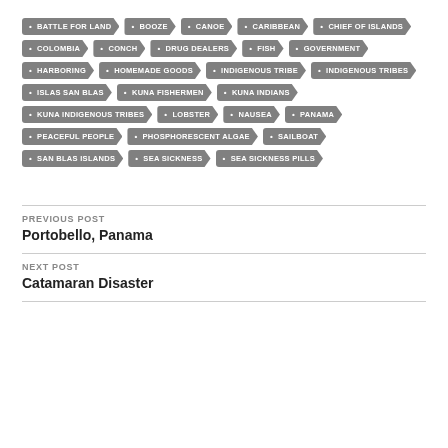BATTLE FOR LAND
BOOZE
CANOE
CARIBBEAN
CHIEF OF ISLANDS
COLOMBIA
CONCH
DRUG DEALERS
FISH
GOVERNMENT
HARBORING
HOMEMADE GOODS
INDIGENOUS TRIBE
INDIGENOUS TRIBES
ISLAS SAN BLAS
KUNA FISHERMEN
KUNA INDIANS
KUNA INDIGENOUS TRIBES
LOBSTER
NAUSEA
PANAMA
PEACEFUL PEOPLE
PHOSPHORESCENT ALGAE
SAILBOAT
SAN BLAS ISLANDS
SEA SICKNESS
SEA SICKNESS PILLS
PREVIOUS POST
Portobello, Panama
NEXT POST
Catamaran Disaster